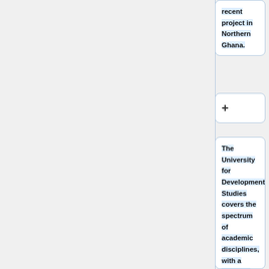recent project in Northern Ghana.
+
The University for Development Studies covers the spectrum of academic disciplines, with a focus on development. The 9 credit program, which will include aspects of the University's new Development Action Through